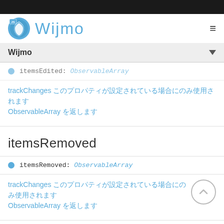[Figure (logo): Wijmo logo with JS badge and blue shield icon, and Wijmo wordmark in blue]
Wijmo
itemsEdited: ObservableArray (partially visible)
trackChanges プロパティが設定されている場合にのみ使用されます ObservableArray を返します
itemsRemoved
itemsRemoved: ObservableArray
trackChanges プロパティが設定されている場合にのみ使用されます ObservableArray を返します